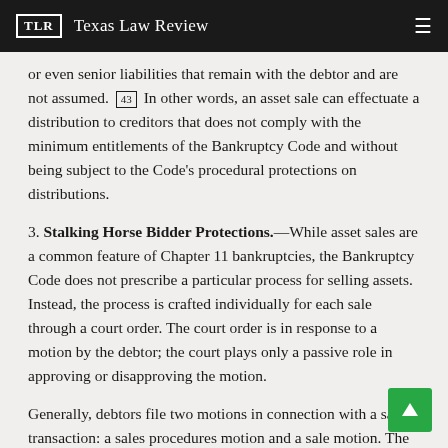TLR  Texas Law Review
or even senior liabilities that remain with the debtor and are not assumed. [43] In other words, an asset sale can effectuate a distribution to creditors that does not comply with the minimum entitlements of the Bankruptcy Code and without being subject to the Code's procedural protections on distributions.
3. Stalking Horse Bidder Protections.
—While asset sales are a common feature of Chapter 11 bankruptcies, the Bankruptcy Code does not prescribe a particular process for selling assets. Instead, the process is crafted individually for each sale through a court order. The court order is in response to a motion by the debtor; the court plays only a passive role in approving or disapproving the motion.
Generally, debtors file two motions in connection with a sale transaction: a sales procedures motion and a sale motion. The sales procedures motion proposes a process for the sale, including the bid terms, approval of a stalking horse bidder, and